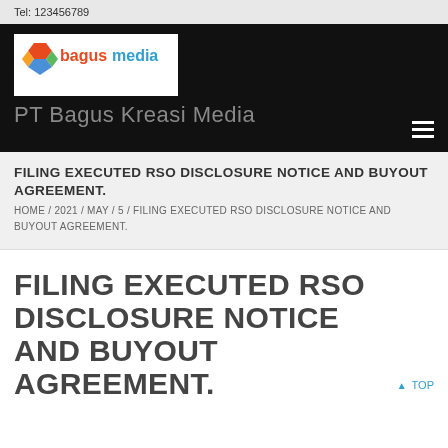Tel: 123456789
[Figure (logo): Bagus Media logo with colorful diamond shapes and company name in orange/blue text]
PT Bagus Kreasi Media
FILING EXECUTED RSO DISCLOSURE NOTICE AND BUYOUT AGREEMENT.
HOME / 2021 / MAY / 5 / FILING EXECUTED RSO DISCLOSURE NOTICE AND BUYOUT AGREEMENT.
FILING EXECUTED RSO DISCLOSURE NOTICE AND BUYOUT AGREEMENT.